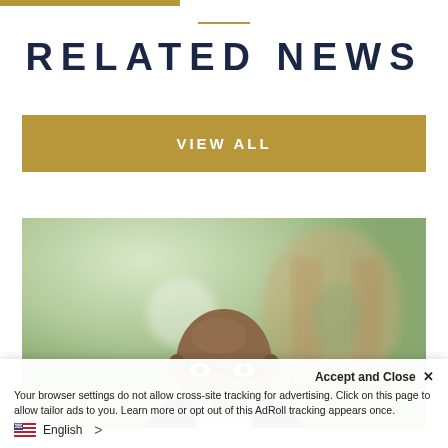RELATED NEWS
VIEW ALL
[Figure (photo): Professional headshot of a bald Black man wearing glasses and a dark suit, with a blurred outdoor campus background. A 'NEWS' label appears in the upper left of the image.]
Accept and Close ×
Your browser settings do not allow cross-site tracking for advertising. Click on this page to allow tailor ads to you. Learn more or opt out of this AdRoll tracking appears once.
English >